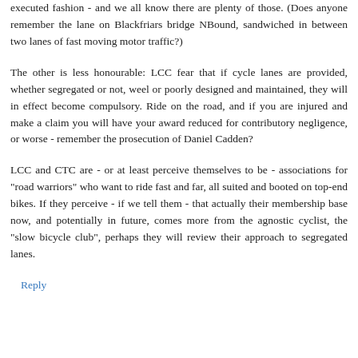executed fashion - and we all know there are plenty of those. (Does anyone remember the lane on Blackfriars bridge NBound, sandwiched in between two lanes of fast moving motor traffic?)
The other is less honourable: LCC fear that if cycle lanes are provided, whether segregated or not, weel or poorly designed and maintained, they will in effect become compulsory. Ride on the road, and if you are injured and make a claim you will have your award reduced for contributory negligence, or worse - remember the prosecution of Daniel Cadden?
LCC and CTC are - or at least perceive themselves to be - associations for "road warriors" who want to ride fast and far, all suited and booted on top-end bikes. If they perceive - if we tell them - that actually their membership base now, and potentially in future, comes more from the agnostic cyclist, the "slow bicycle club", perhaps they will review their approach to segregated lanes.
Reply